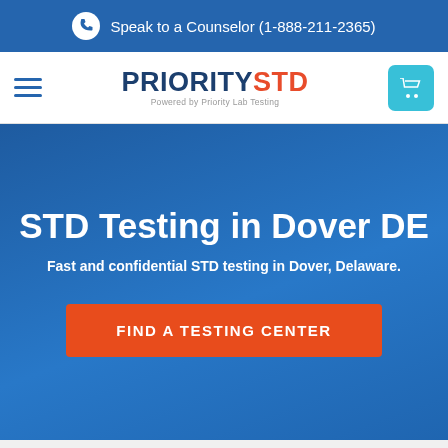Speak to a Counselor (1-888-211-2365)
[Figure (screenshot): PrioritySTD logo with navigation bar including hamburger menu and shopping cart button]
STD Testing in Dover DE
Fast and confidential STD testing in Dover, Delaware.
FIND A TESTING CENTER